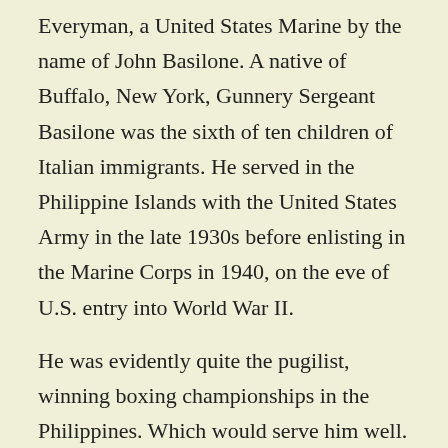Everyman, a United States Marine by the name of John Basilone. A native of Buffalo, New York, Gunnery Sergeant Basilone was the sixth of ten children of Italian immigrants. He served in the Philippine Islands with the United States Army in the late 1930s before enlisting in the Marine Corps in 1940, on the eve of U.S. entry into World War II.
He was evidently quite the pugilist, winning boxing championships in the Philippines. Which would serve him well. In August 1942 Basilone landed in the initial wave at